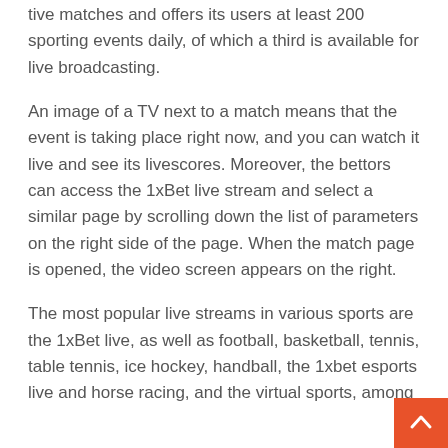tive matches and offers its users at least 200 sporting events daily, of which a third is available for live broadcasting.
An image of a TV next to a match means that the event is taking place right now, and you can watch it live and see its livescores. Moreover, the bettors can access the 1xBet live stream and select a similar page by scrolling down the list of parameters on the right side of the page. When the match page is opened, the video screen appears on the right.
The most popular live streams in various sports are the 1xBet live, as well as football, basketball, tennis, table tennis, ice hockey, handball, the 1xbet esports live and horse racing, and the virtual sports, among others.